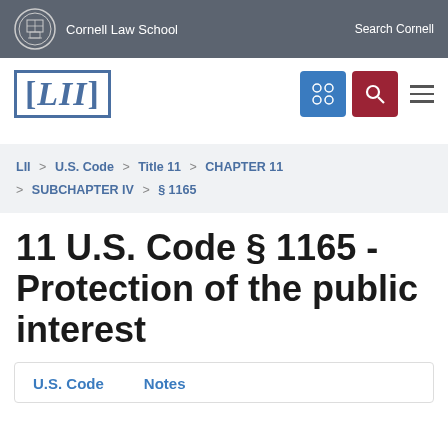Cornell Law School | Search Cornell
[Figure (logo): LII Legal Information Institute logo with [LII] bracketed text, blue and red navigation icons]
LII > U.S. Code > Title 11 > CHAPTER 11 > SUBCHAPTER IV > §1165
11 U.S. Code § 1165 - Protection of the public interest
U.S. Code   Notes